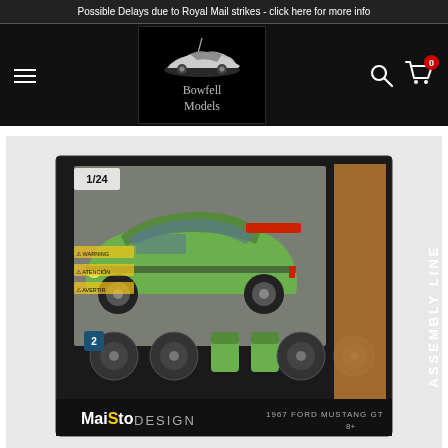Possible Delays due to Royal Mail strikes - click here for more info
[Figure (logo): Bowfell Models logo: black background with stylized silver car silhouette and antenna, text 'Bowfell Models' in gray serif font]
[Figure (photo): Maisto Design Assembly Line 1/24 scale 1967 Ford Mustang GT model car kit in retail packaging. Box shows green Mustang GT with spare wheels and racing seats accessories. Scale 1/24, age 8+.]